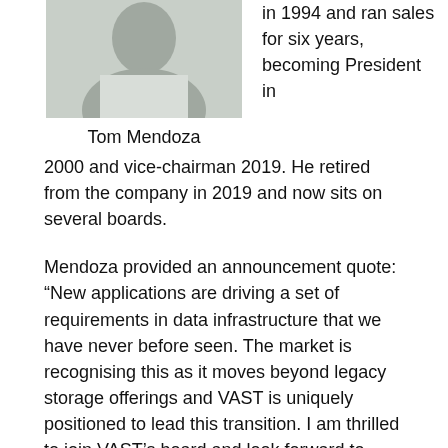[Figure (photo): Photo of Tom Mendoza, a man in a light-colored shirt, cropped to show upper body and face]
Tom Mendoza
in 1994 and ran sales for six years, becoming President in 2000 and vice-chairman 2019. He retired from the company in 2019 and now sits on several boards.
Mendoza provided an announcement quote: “New applications are driving a set of requirements in data infrastructure that we have never before seen. The market is recognising this as it moves beyond legacy storage offerings and VAST is uniquely positioned to lead this transition. I am thrilled to join VAST’s board and look forward to building the next great independent infrastructure company together.”